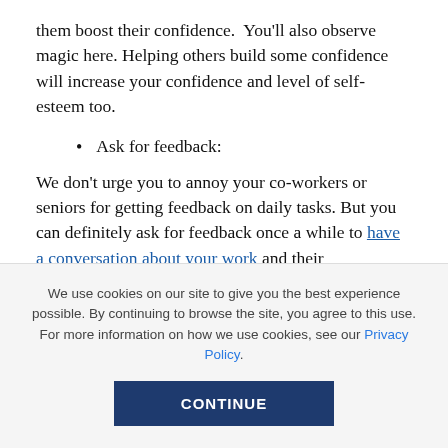them boost their confidence. You'll also observe magic here. Helping others build some confidence will increase your confidence and level of self-esteem too.
Ask for feedback:
We don't urge you to annoy your co-workers or seniors for getting feedback on daily tasks. But you can definitely ask for feedback once a while to have a conversation about your work and their expectations. Moreover, it will also give others an idea that you are
We use cookies on our site to give you the best experience possible. By continuing to browse the site, you agree to this use. For more information on how we use cookies, see our Privacy Policy.
CONTINUE